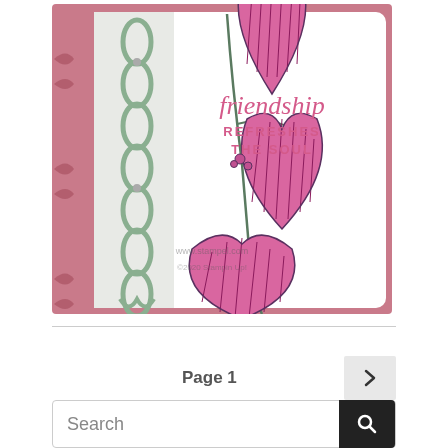[Figure (photo): A handmade greeting card with a dusty rose/mauve background. Features pink ginkgo-like flowers (fan-shaped petals with dark stripes) on stems, a decorative sage green lattice/trellis die-cut border strip on the left side overlaying a silvery-white panel, and dark pink floral motifs on the card base. The card contains text in pink script and uppercase: 'friendship REFRESHES THE SOUL'. A watermark reads 'www.stampel.com' and '©2020 Stampin Up!']
Page 1
Search